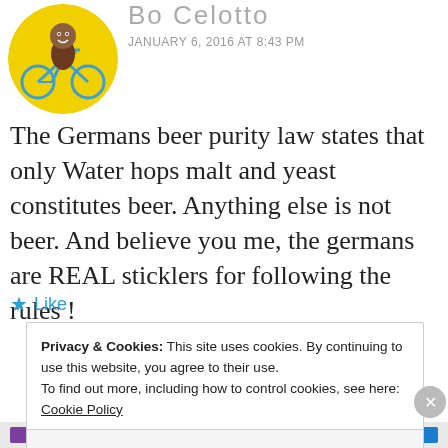[Figure (illustration): Circular avatar of a cartoon character riding a bicycle on a yellow background]
Bo Celotto
JANUARY 6, 2016 AT 8:43 PM
The Germans beer purity law states that only Water hops malt and yeast constitutes beer. Anything else is not beer. And believe you me, the germans are REAL sticklers for following the rules !
★ Like
Privacy & Cookies: This site uses cookies. By continuing to use this website, you agree to their use.
To find out more, including how to control cookies, see here: Cookie Policy
Close and accept